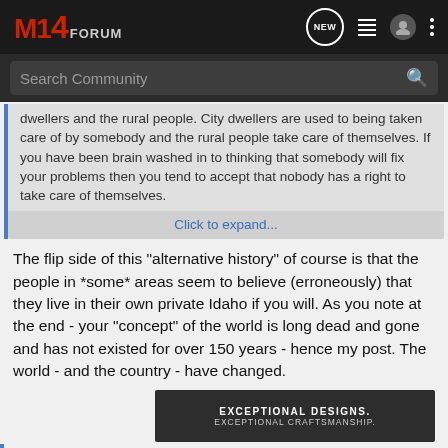M14 FORUM
Search Community
dwellers and the rural people. City dwellers are used to being taken care of by somebody and the rural people take care of themselves. If you have been brain washed in to thinking that somebody will fix your problems then you tend to accept that nobody has a right to take care of themselves.
Click to expand...
The flip side of this "alternative history" of course is that the people in *some* areas seem to believe (erroneously) that they live in their own private Idaho if you will. As you note at the end - your "concept" of the world is long dead and gone and has not existed for over 150 years - hence my post. The world - and the country - have changed.
[Figure (photo): Advertisement banner showing a firearm part with text EXCEPTIONAL DESIGNS. EXCEPTIONAL CRAFTSMANSHIP.]
CNels